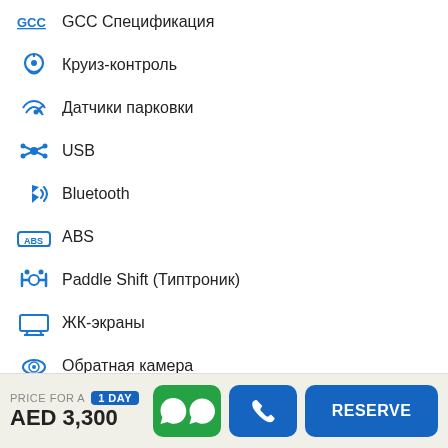GCC Спецификация
Круиз-контроль
Датчики парковки
USB
Bluetooth
ABS
Paddle Shift (Типтроник)
ЖК-экраны
Обратная камера
Кожаные сиденья / сиденья из ткани
Контроль климата
FM-радио
Стерео MP3/CD
Дверные замки с электроприводом
PRICE FOR A 1 DAY AED 3,300 RESERVE